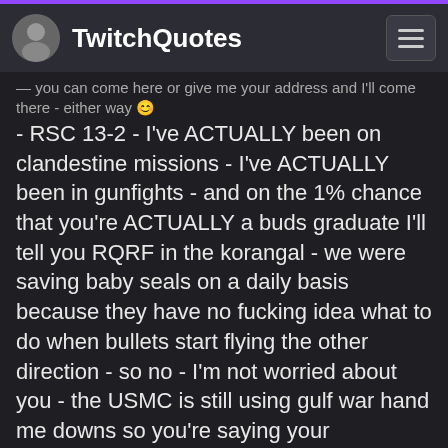TwitchQuotes
- RSC 13-2 - I've ACTUALLY been on clandestine missions - I've ACTUALLY been in gunfights - and on the 1% chance that you're ACTUALLY a buds graduate I'll tell you RQRF in the korangal - we were saving baby seals on a daily basis because they have no fucking idea what to do when bullets start flying the other direction - so no - I'm not worried about you - the USMC is still using gulf war hand me downs so you're saying your equipment is dated and sporting extensive wear and tear? Annnndddd no need to involve your top secret lies I mean spies whoops - cuzzzzz I just told you and the internet where I live - you can come here or give me your address and I'll come there - either way 🙂
EDIT: Here was his response to being told it was a copypasta, for your viewing pleasure.